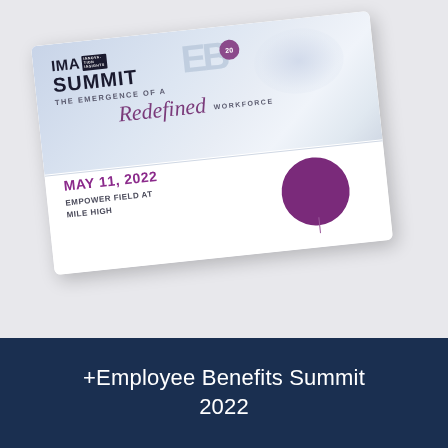[Figure (other): A tilted promotional card for IMA Summit Employee Benefits Summit 2022. The card shows the IMA SUMMIT logo with an EB logo, text reading 'THE EMERGENCE OF A Redefined WORKFORCE', date 'MAY 11, 2022', venue 'EMPOWER FIELD AT MILE HIGH', and a purple circle design element.]
+Employee Benefits Summit 2022